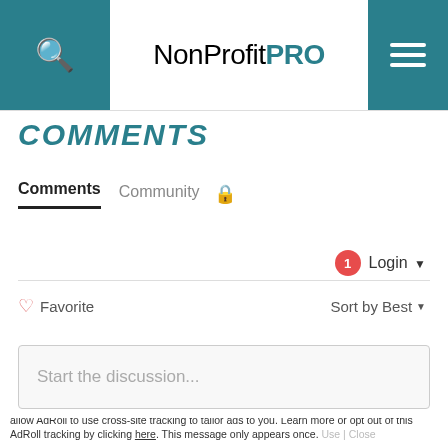NonProfitPRO
COMMENTS
Comments  Community 🔒
1  Login ▾
♡ Favorite    Sort by Best ▾
Start the discussion...
This site uses cookies for tracking purposes. By continuing to browse our website, you agree to the storing of first- and third-party cookies on your device to enhance site navigation, analyze site usage, and assist in our marketing and
Accept and Close ✕
Your browser settings do not allow cross-site tracking for advertising. Click on this page to allow AdRoll to use cross-site tracking to tailor ads to you. Learn more or opt out of this AdRoll tracking by clicking here. This message only appears once.